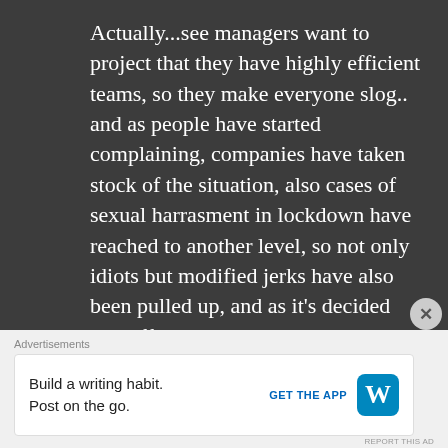Actually...see managers want to project that they have highly efficient teams, so they make everyone slog.. and as people have started complaining, companies have taken stock of the situation, also cases of sexual harrasment in lockdown have reached to another level, so not only idiots but modified jerks have also been pulled up, and as it’s decided that offices have to be opened, so that work life balance stays.
Advertisements
Build a writing habit. Post on the go.
GET THE APP